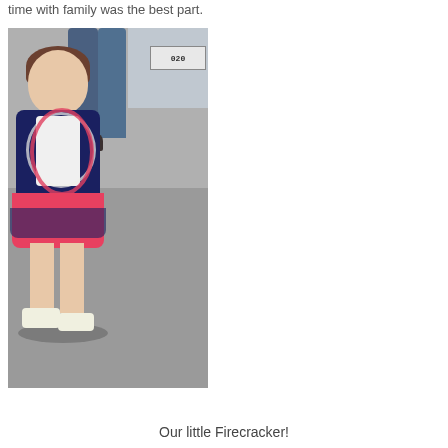time with family was the best part.
[Figure (photo): A young toddler girl wearing a navy blue cardigan, colorful bead necklaces, a red and navy striped/dotted layered skirt, and white sandals. She is holding a small lollipop and standing on a paved surface. A car with a license plate reading '020' is visible in the background, along with adult denim-clad legs.]
Our little Firecracker!